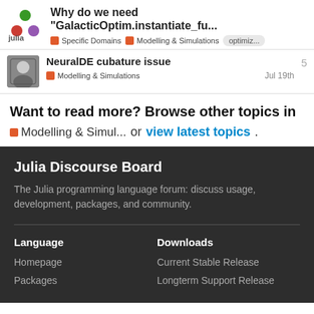Why do we need “GalacticOptim.instantiate_fu...
Specific Domains  Modelling & Simulations  optimiz...
NeuralDE cubature issue
Modelling & Simulations  Jul 19th
Want to read more? Browse other topics in Modelling & Simul...  or view latest topics.
Julia Discourse Board
The Julia programming language forum: discuss usage, development, packages, and community.
Language
Downloads
Homepage
Current Stable Release
Packages
Longterm Support Release